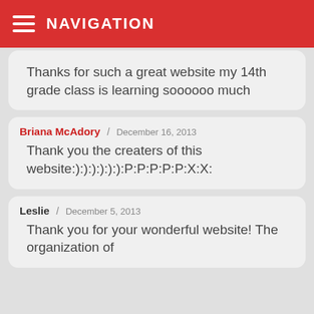NAVIGATION
Thanks for such a great website my 14th grade class is learning soooooo much
Briana McAdory / December 16, 2013
Thank you the creaters of this website:):):):):):):P:P:P:P:P:X:X:
Leslie / December 5, 2013
Thank you for your wonderful website! The organization of